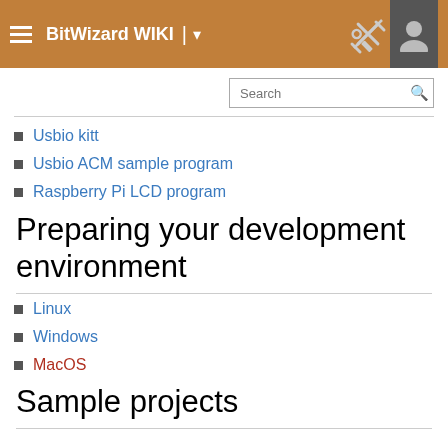BitWizard WIKI
Usbio kitt
Usbio ACM sample program
Raspberry Pi LCD program
Preparing your development environment
Linux
Windows
MacOS
Sample projects